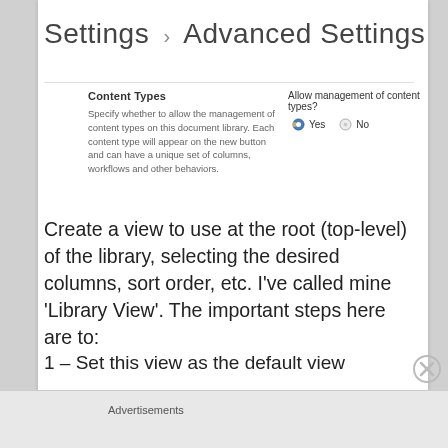Settings › Advanced Settings
Content Types
Specify whether to allow the management of content types on this document library. Each content type will appear on the new button and can have a unique set of columns, workflows and other behaviors.
Allow management of content types?
Yes  No
Create a view to use at the root (top-level) of the library, selecting the desired columns, sort order, etc. I've called mine 'Library View'. The important steps here are to:
1 – Set this view as the default view
Advertisements